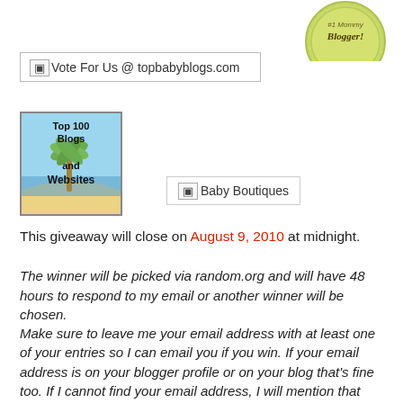[Figure (illustration): Circular green/yellow badge partially visible at top right, with text '#1 Mommy Blogger!']
[Figure (screenshot): Image placeholder showing 'Vote For Us @ topbabyblogs.com' inside a bordered box]
[Figure (illustration): Top 100 Blogs and Websites badge with a tropical beach/palm tree scene]
[Figure (screenshot): Image placeholder labeled 'Baby Boutiques' inside a bordered box]
This giveaway will close on August 9, 2010 at midnight.
The winner will be picked via random.org and will have 48 hours to respond to my email or another winner will be chosen.
Make sure to leave me your email address with at least one of your entries so I can email you if you win. If your email address is on your blogger profile or on your blog that's fine too. If I cannot find your email address, I will mention that when I post the winner of the giveaway, and you'll have 48 hours to email me or another winner will be drawn.